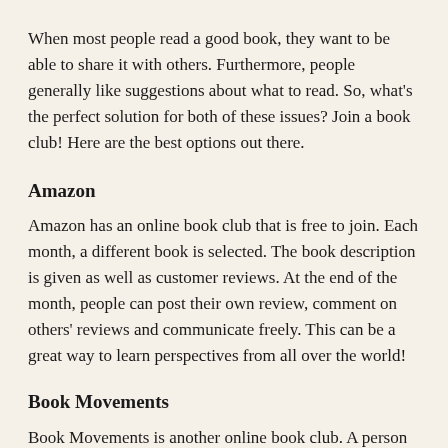When most people read a good book, they want to be able to share it with others. Furthermore, people generally like suggestions about what to read. So, what's the perfect solution for both of these issues? Join a book club! Here are the best options out there.
Amazon
Amazon has an online book club that is free to join. Each month, a different book is selected. The book description is given as well as customer reviews. At the end of the month, people can post their own review, comment on others' reviews and communicate freely. This can be a great way to learn perspectives from all over the world!
Book Movements
Book Movements is another online book club. A person must register with the site, but it is free of charge. Each month, a new book is picked. Members can blog about the book and also share a review of it. This book club has special events too, such as live chat sessions with authors. There are also reviews on over thirty two thousand different books, so the suggestions are very copious.